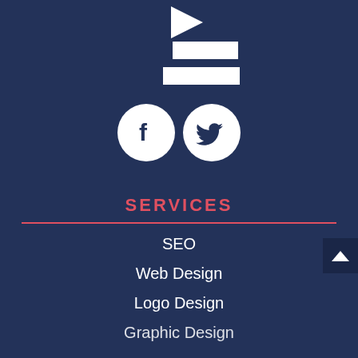[Figure (logo): Stacked white rectangular bar logo/icon on dark blue background, resembling a stylized list or chat icon]
[Figure (infographic): Two white circular social media icons: Facebook (f) and Twitter (bird) side by side on dark blue background]
SERVICES
SEO
Web Design
Logo Design
Graphic Design